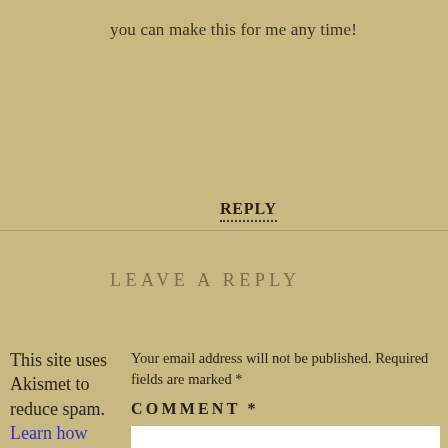you can make this for me any time!
REPLY
LEAVE A REPLY
This site uses Akismet to reduce spam. Learn how your comment data is processed.
Your email address will not be published. Required fields are marked *
COMMENT *